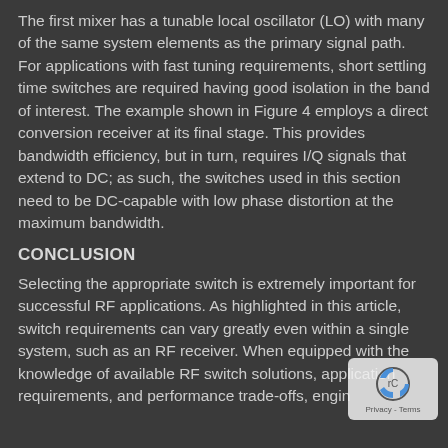The first mixer has a tunable local oscillator (LO) with many of the same system elements as the primary signal path. For applications with fast tuning requirements, short settling time switches are required having good isolation in the band of interest. The example shown in Figure 4 employs a direct conversion receiver at its final stage. This provides bandwidth efficiency, but in turn, requires I/Q signals that extend to DC; as such, the switches used in this section need to be DC-capable with low phase distortion at the maximum bandwidth.
CONCLUSION
Selecting the appropriate switch is extremely important for successful RF applications. As highlighted in this article, switch requirements can vary greatly even within a single system, such as an RF receiver. When equipped with the knowledge of available RF switch solutions, application requirements, and performance trade-offs, engineers can...